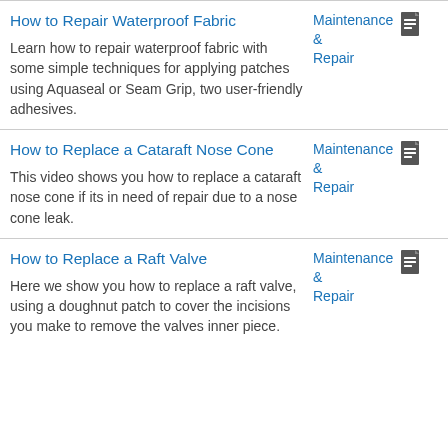How to Repair Waterproof Fabric
Learn how to repair waterproof fabric with some simple techniques for applying patches using Aquaseal or Seam Grip, two user-friendly adhesives.
Maintenance & Repair
How to Replace a Cataraft Nose Cone
This video shows you how to replace a cataraft nose cone if its in need of repair due to a nose cone leak.
Maintenance & Repair
How to Replace a Raft Valve
Here we show you how to replace a raft valve, using a doughnut patch to cover the incisions you make to remove the valves inner piece.
Maintenance & Repair